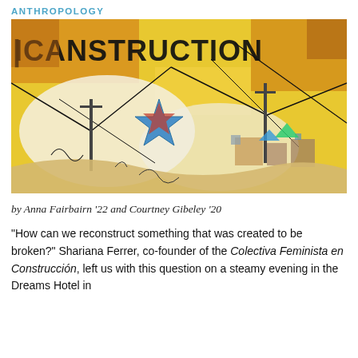ANTHROPOLOGY
[Figure (illustration): Colorful mural artwork with text 'RECONSTRUCTION' in large bold graffiti-style letters against a yellow background. Features a star in Puerto Rican flag colors (red, white, blue), power lines, buildings, and abstract swirling shapes in a street art style.]
by Anna Fairbairn '22 and Courtney Gibeley '20
“How can we reconstruct something that was created to be broken?” Shariana Ferrer, co-founder of the Colectiva Feminista en Construcción, left us with this question on a steamy evening in the Dreams Hotel in